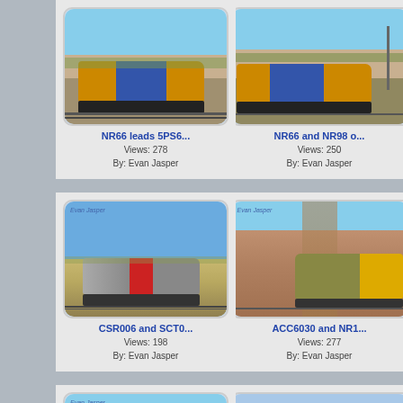[Figure (photo): Photograph of NR66 locomotive leading train 5PS6 on a regional Australian railway line, taken by Evan Jasper]
NR66 leads 5PS6...
Views: 278
By: Evan Jasper
[Figure (photo): Photograph of NR66 and NR98 locomotives on an Australian railway, taken by Evan Jasper (partially cropped on right)]
NR66 and NR98 o...
Views: 250
By: Evan Jasper
[Figure (photo): Photograph of CSR006 and SCT0 locomotives on an Australian railway line, watermarked Evan Jasper]
CSR006 and SCT0...
Views: 198
By: Evan Jasper
[Figure (photo): Photograph of ACC6030 and NR1 locomotives on an Australian outback railway, watermarked Evan Jasper (partially cropped on right)]
ACC6030 and NR1...
Views: 277
By: Evan Jasper
[Figure (photo): Partially visible train photograph at bottom of page, watermarked Evan Jasper]
[Figure (photo): Partially visible train photograph at bottom right of page]